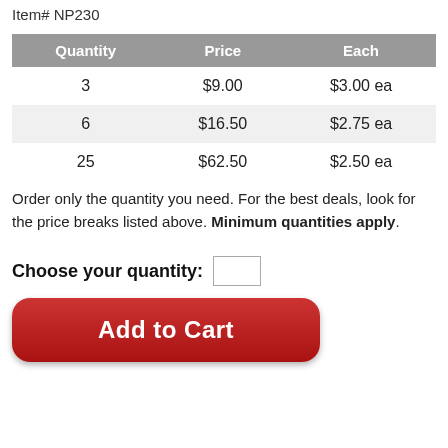Item# NP230
| Quantity | Price | Each |
| --- | --- | --- |
| 3 | $9.00 | $3.00 ea |
| 6 | $16.50 | $2.75 ea |
| 25 | $62.50 | $2.50 ea |
Order only the quantity you need. For the best deals, look for the price breaks listed above. Minimum quantities apply.
Choose your quantity:
[Figure (other): Red rounded 'Add to Cart' button]